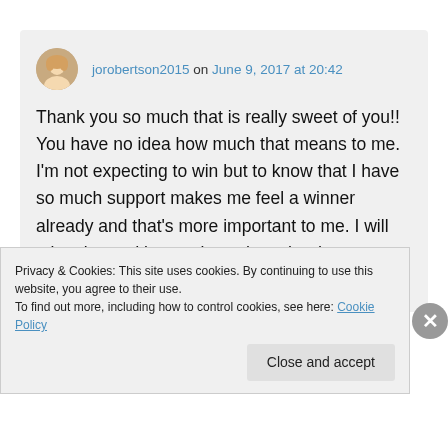jorobertson2015 on June 9, 2017 at 20:42
Thank you so much that is really sweet of you!! You have no idea how much that means to me. I'm not expecting to win but to know that I have so much support makes me feel a winner already and that's more important to me. I will take pics and let you know how the day goes. 😊😊
Privacy & Cookies: This site uses cookies. By continuing to use this website, you agree to their use. To find out more, including how to control cookies, see here: Cookie Policy
Close and accept